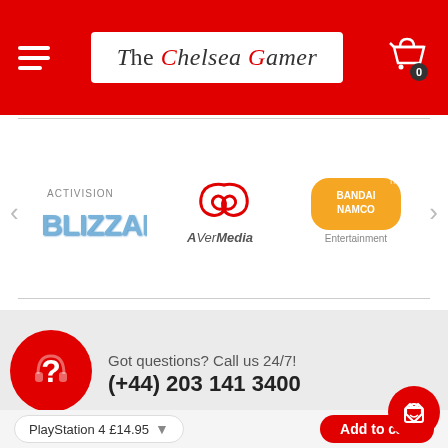The Chelsea Gamer
[Figure (logo): Activision Blizzard logo]
[Figure (logo): AVerMedia logo]
[Figure (logo): Bandai Namco Entertainment logo]
Got questions? Call us 24/7!
(+44) 203 141 3400
Contact info
PlayStation 4 £14.95
Add to cart